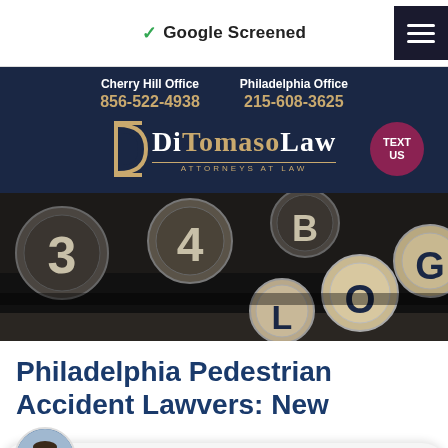✓ Google Screened
Cherry Hill Office
856-522-4938
Philadelphia Office
215-608-3625
[Figure (logo): DiTomasoLaw Attorneys at Law logo with gold bracket/D monogram on dark navy background, with TEXT US badge]
[Figure (photo): Close-up of vintage typewriter keys showing numbers 3, 4 and letters B, L, O, G on dark background]
Philadelphia Pedestrian Accident Lawvers: New
LIVE CHAT   START NOW